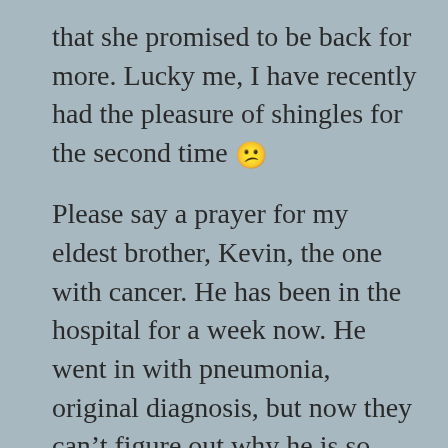that she promised to be back for more. Lucky me, I have recently had the pleasure of shingles for the second time 🙁
Please say a prayer for my eldest brother, Kevin, the one with cancer. He has been in the hospital for a week now. He went in with pneumonia, original diagnosis, but now they can't figure out why he is so sick.
I have some new pic's of the grandkids and the latest masterpieces I've